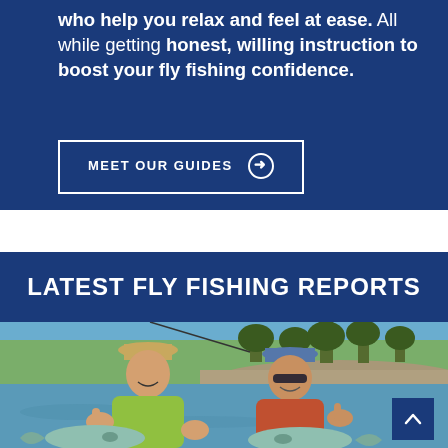who help you relax and feel at ease. All while getting honest, willing instruction to boost your fly fishing confidence.
MEET OUR GUIDES →
LATEST FLY FISHING REPORTS
[Figure (photo): Two people smiling and holding up fish (trout) by a river, both wearing caps, giving thumbs up. Green trees and rocky riverbank in background.]